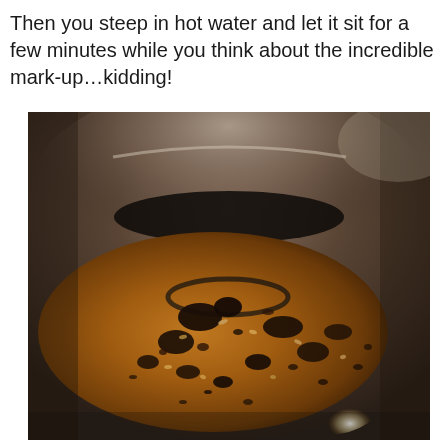Then you steep in hot water and let it sit for a few minutes while you think about the incredible mark-up…kidding!
[Figure (photo): Close-up photo of the inside of a metal pot containing a golden-brown liquid with steeped herbs/spices and dark chunky pieces floating in it, shot from above at an angle.]